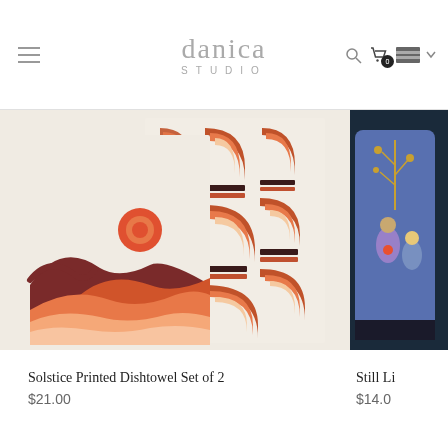danica STUDIO — navigation header with menu, logo, search, cart (0), and flag/language selector
[Figure (photo): Two dish towels showing abstract southwestern/solstice design — one with rolling hills, sun, and wave motifs in terracotta, orange, dark brown on cream; the other with repeating arch/rainbow patterns in orange, dark brown, salmon on cream]
Solstice Printed Dishtowel Set of 2
$21.00
[Figure (photo): Partial view of a tall cylindrical container/vessel with illustrated still life design in blue, gold, purple tones on dark background — product partially cropped at right edge]
Still Li
$14.0